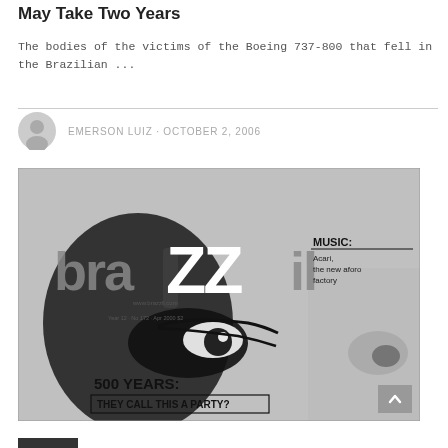May Take Two Years
The bodies of the victims of the Boeing 737-800 that fell in the Brazilian ...
EMERSON LUIZ · OCTOBER 2, 2006
[Figure (photo): Black and white magazine cover of 'brazzil' magazine showing a close-up of a person's face/eye. Text on cover reads: MUSIC: Acari, the new aforo factory. 500 YEARS: THEY CALL THIS A PARTY? Year 12 · No 172 · Apr 2000. www.brazzil.com. $2]